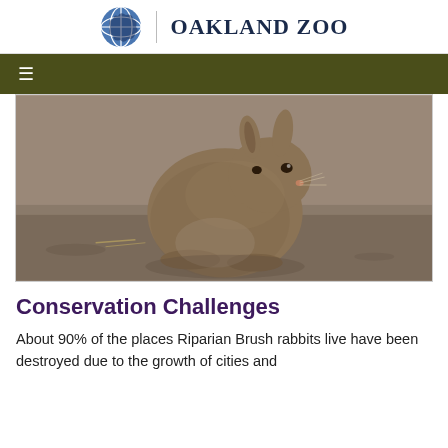OAKLAND ZOO
[Figure (photo): A Riparian Brush rabbit sitting on sandy/dirt ground, viewed from a slight angle, brown furry animal looking toward the camera]
Conservation Challenges
About 90% of the places Riparian Brush rabbits live have been destroyed due to the growth of cities and